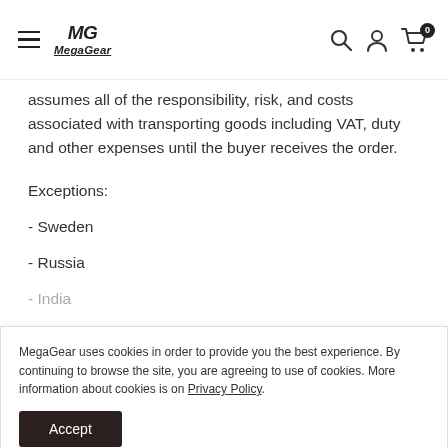MegaGear [navigation bar with hamburger menu, logo, search, account, cart icons]
assumes all of the responsibility, risk, and costs associated with transporting goods including VAT, duty and other expenses until the buyer receives the order.
Exceptions:
- Sweden
- Russia
- India
+ View more
MegaGear uses cookies in order to provide you the best experience. By continuing to browse the site, you are agreeing to use of cookies. More information about cookies is on Privacy Policy.
Accept
Refund Policy